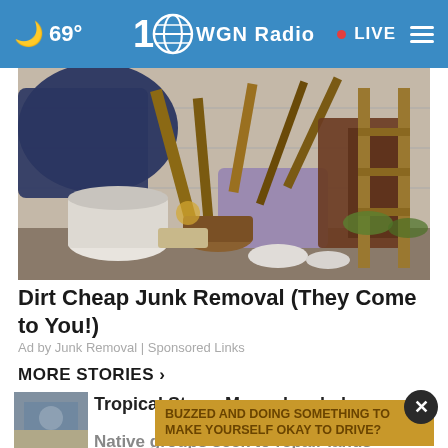69° WGN Radio • LIVE
[Figure (photo): Pile of junk and debris including buckets, wooden furniture, tools, clothing, and various discarded items against a wall]
Dirt Cheap Junk Removal (They Come to You!)
Ad by Junk Removal | Sponsored Links
MORE STORIES ›
Tropical Storm Ma-on headed...
Native groups seek to repair lands
BUZZED AND DOING SOMETHING TO MAKE YOURSELF OKAY TO DRIVE?